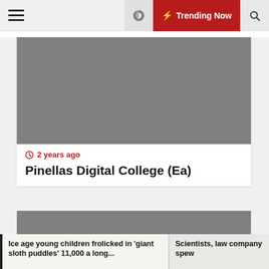☰  🌙  ⚡ Trending Now  🔍
[Figure (photo): Gray placeholder image for article about Pinellas Digital College]
2 years ago
Pinellas Digital College (Ea)
[Figure (photo): Gray placeholder image for second article]
Ice age young children frolicked in 'giant sloth puddles' 11,000 a long...
Scientists, law company spew